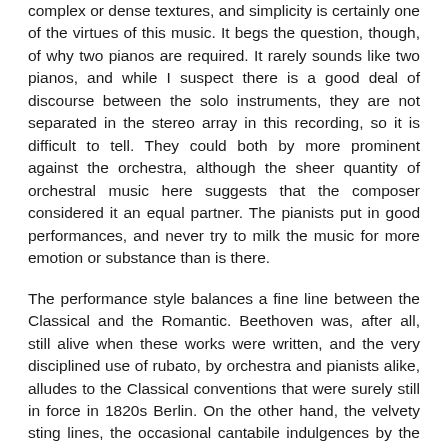complex or dense textures, and simplicity is certainly one of the virtues of this music. It begs the question, though, of why two pianos are required. It rarely sounds like two pianos, and while I suspect there is a good deal of discourse between the solo instruments, they are not separated in the stereo array in this recording, so it is difficult to tell. They could both by more prominent against the orchestra, although the sheer quantity of orchestral music here suggests that the composer considered it an equal partner. The pianists put in good performances, and never try to milk the music for more emotion or substance than is there.
The performance style balances a fine line between the Classical and the Romantic. Beethoven was, after all, still alive when these works were written, and the very disciplined use of rubato, by orchestra and pianists alike, alludes to the Classical conventions that were surely still in force in 1820s Berlin. On the other hand, the velvety sting lines, the occasional cantabile indulgences by the pianists, and the sheer size of the orchestra look forward to Schumann and even Brahms.
But this is music to just enjoy rather than to ponder at length,